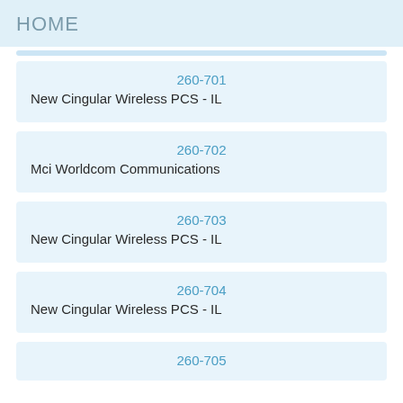HOME
260-701
New Cingular Wireless PCS - IL
260-702
Mci Worldcom Communications
260-703
New Cingular Wireless PCS - IL
260-704
New Cingular Wireless PCS - IL
260-705